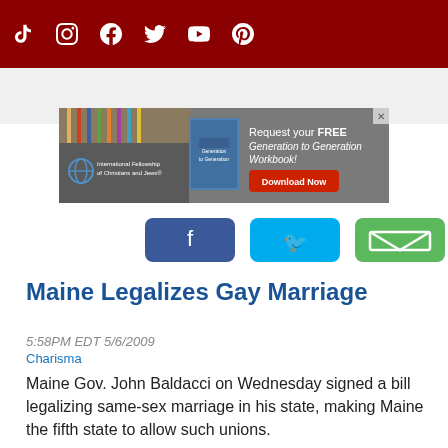Social media icons navigation bar: TikTok, Instagram, Facebook, Twitter, YouTube, Pinterest
[Figure (other): Advertisement banner: International Fellowship of Christians and Jews - Request your FREE Generation to Generation Workbook! Download Now]
[Figure (other): Social share buttons: Facebook (blue), Twitter (cyan), Email (green)]
Maine Legalizes Gay Marriage
5:58PM EDT 5/6/2009
Charisma
Maine Gov. John Baldacci on Wednesday signed a bill legalizing same-sex marriage in his state, making Maine the fifth state to allow such unions.